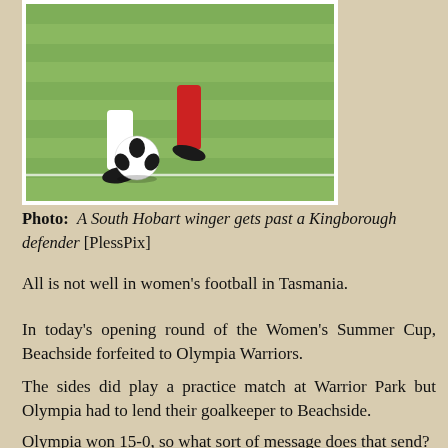[Figure (photo): Soccer players' legs on a grass field, one player dribbling a ball past another]
Photo: A South Hobart winger gets past a Kingborough defender [PlessPix]
All is not well in women's football in Tasmania.
In today's opening round of the Women's Summer Cup, Beachside forfeited to Olympia Warriors.
The sides did play a practice match at Warrior Park but Olympia had to lend their goalkeeper to Beachside.
Olympia won 15-0, so what sort of message does that send?
[Figure (photo): Women soccer players on a grass field during a match, one in yellow kit]